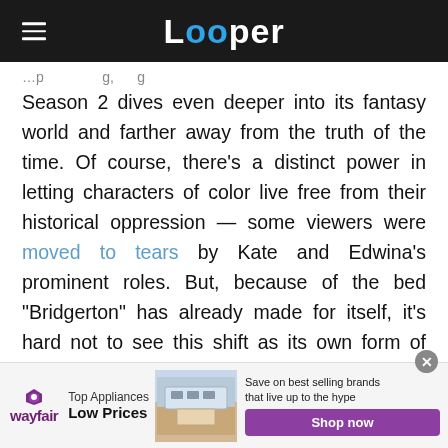Looper
Season 2 dives even deeper into its fantasy world and farther away from the truth of the time. Of course, there's a distinct power in letting characters of color live free from their historical oppression — some viewers were moved to tears by Kate and Edwina's prominent roles. But, because of the bed "Bridgerton" has already made for itself, it's hard not to see this shift as its own form of whitewashing.
Best: Kate and Anthony are great
[Figure (other): Wayfair advertisement banner: Top Appliances Low Prices, Save on best selling brands that live up to the hype, Shop now button]